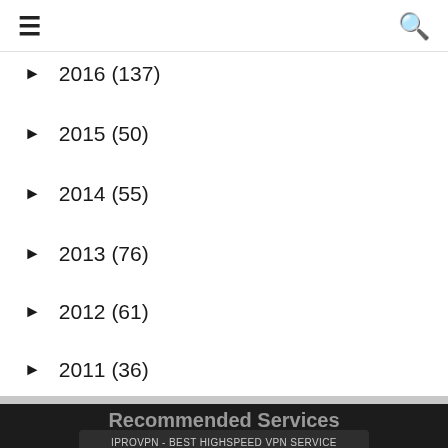☰ [menu] [search]
► 2016 (137)
► 2015 (50)
► 2014 (55)
► 2013 (76)
► 2012 (61)
► 2011 (36)
Recommended Services
IPROVPN - BEST HIGHSPEED VPN SERVICE
KIDSGUARD PRO - MONITOR YOUR CHILD'S ACTIVITIES ON IPHONE